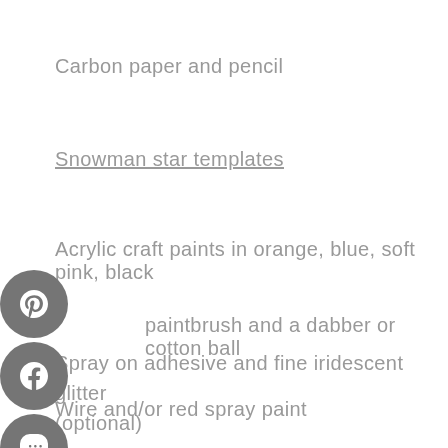Carbon paper and pencil
Snowman star templates
Acrylic craft paints in orange, blue, soft pink, black
paintbrush and a dabber or cotton ball
Wire and/or red spray paint
Spray on adhesive and fine iridescent glitter (optional)